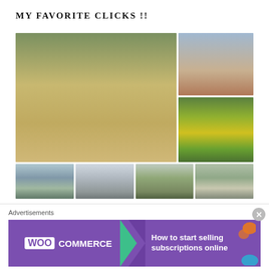MY FAVORITE CLICKS !!
[Figure (photo): Photo collage of 7 outdoor photos: a large temple/forest scene with palm trees and a golden shrine, a person climbing a palm tree at sunset, a yellow flower close-up, a water body with trees, a hazy cityscape view, a green field with a palm tree, and an aerial/water view]
[Figure (photo): Advertisement banner: WooCommerce ad with purple background, green arrow, text 'How to start selling subscriptions online']
Advertisements